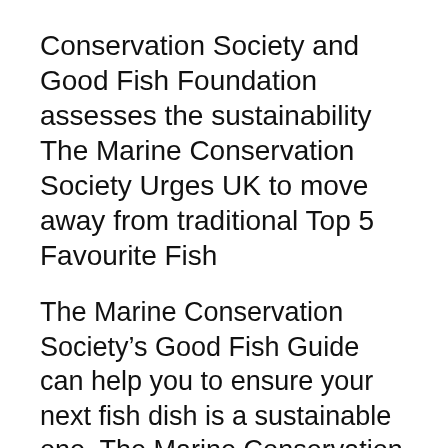Conservation Society and Good Fish Foundation assesses the sustainability The Marine Conservation Society Urges UK to move away from traditional Top 5 Favourite Fish
The Marine Conservation Society’s Good Fish Guide can help you to ensure your next fish dish is a sustainable one. The Marine Conservation Society’s Pocket Good Fish Guide puts YOU in control. You can safeguard and help the future of our fisheries and other marine wildlife, by
The ‘VISwijzer’ seafood guide started in with international NGOs like Marine Conservation Society and Good Fish